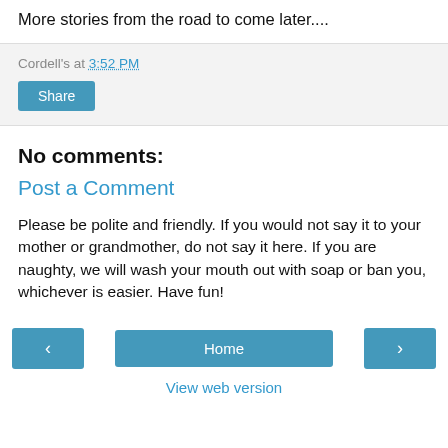More stories from the road to come later....
Cordell's at 3:52 PM
Share
No comments:
Post a Comment
Please be polite and friendly. If you would not say it to your mother or grandmother, do not say it here. If you are naughty, we will wash your mouth out with soap or ban you, whichever is easier. Have fun!
‹  Home  ›  View web version